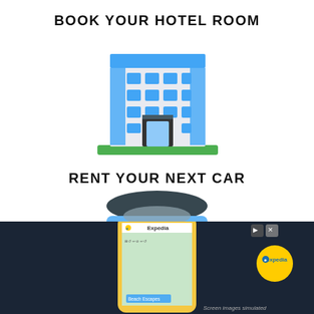BOOK YOUR HOTEL ROOM
[Figure (illustration): Flat design illustration of a hotel building with blue windows, blue facade accents, dark entrance door, and green ground strip]
RENT YOUR NEXT CAR
[Figure (illustration): Flat design illustration of a dark gray car viewed from front-top angle, blue body lower section, partially visible]
[Figure (screenshot): Expedia advertisement banner with dark navy background showing a smartphone with the Expedia app open displaying Beach Escapes. Has close/skip icons top right, Expedia logo in yellow circle bottom right, and 'Screen images simulated' text.]